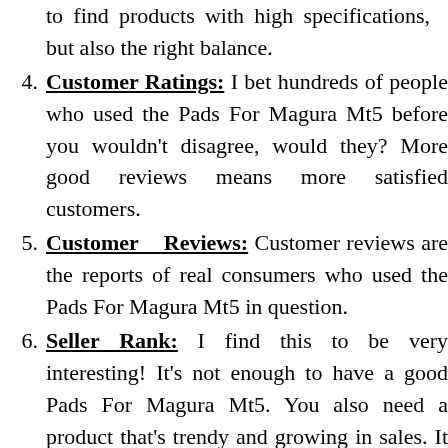to find products with high specifications, but also the right balance.
Customer Ratings: I bet hundreds of people who used the Pads For Magura Mt5 before you wouldn't disagree, would they? More good reviews means more satisfied customers.
Customer Reviews: Customer reviews are the reports of real consumers who used the Pads For Magura Mt5 in question.
Seller Rank: I find this to be very interesting! It's not enough to have a good Pads For Magura Mt5. You also need a product that's trendy and growing in sales. It serves two